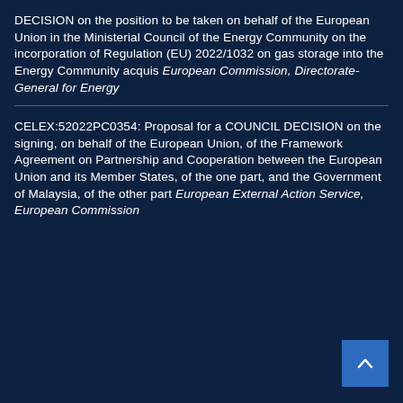DECISION on the position to be taken on behalf of the European Union in the Ministerial Council of the Energy Community on the incorporation of Regulation (EU) 2022/1032 on gas storage into the Energy Community acquis European Commission, Directorate-General for Energy
CELEX:52022PC0354: Proposal for a COUNCIL DECISION on the signing, on behalf of the European Union, of the Framework Agreement on Partnership and Cooperation between the European Union and its Member States, of the one part, and the Government of Malaysia, of the other part European External Action Service, European Commission